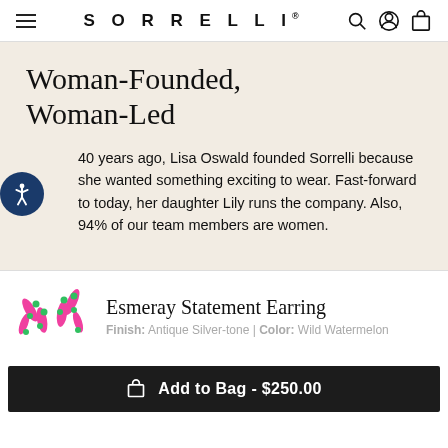SORRELLI
Woman-Founded, Woman-Led
40 years ago, Lisa Oswald founded Sorrelli because she wanted something exciting to wear. Fast-forward to today, her daughter Lily runs the company. Also, 94% of our team members are women.
Esmeray Statement Earring
Finish: Antique Silver-tone | Color: Wild Watermelon
Add to Bag - $250.00